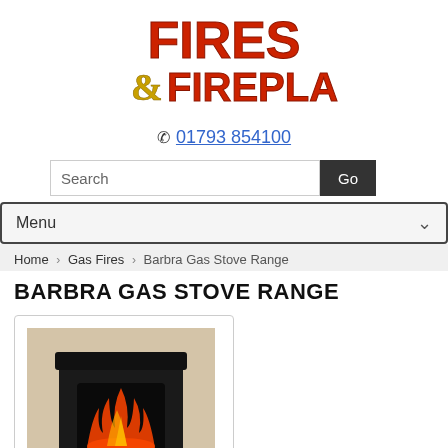[Figure (logo): Fires & Fireplaces logo with stylized orange/red text and golden ampersand]
☎ 01793 854100
[Figure (screenshot): Search bar with text 'Search' and a 'Go' button]
Menu
Home › Gas Fires › Barbra Gas Stove Range
BARBRA GAS STOVE RANGE
[Figure (photo): Photo of a black gas stove fireplace insert with glowing flames, in a card border]